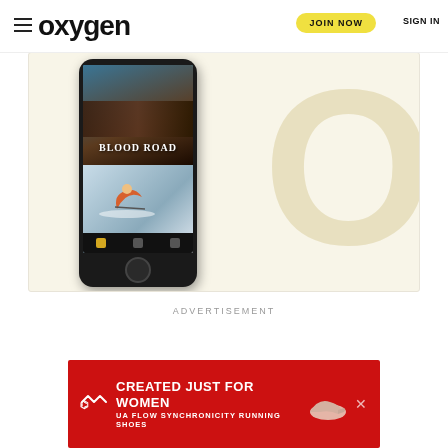oxygen | JOIN NOW | SIGN IN
[Figure (screenshot): Oxygen app screenshot on mobile phone with Blood Road show and snowboarder content, displayed against a pale yellow background with large 'O' watermark]
ADVERTISEMENT
[Figure (photo): Under Armour banner ad: CREATED JUST FOR WOMEN - UA FLOW SYNCHRONICITY RUNNING SHOES on red background with shoe image]